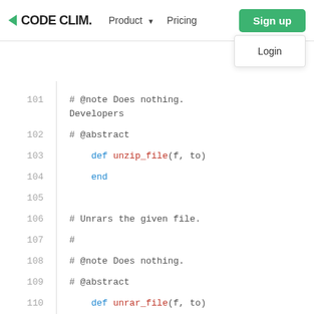CODE CLIM. | Product | Pricing | Sign up | Login
[Figure (screenshot): Code Climate website navigation bar with logo, Product dropdown, Pricing link, Sign up button (green), and Login dropdown item]
101   # @note Does nothing.
        Developers
102   # @abstract
103       def unzip_file(f, to)
104       end
105
106   # Unrars the given file.
107   #
108   # @note Does nothing.
109   # @abstract
110       def unrar_file(f, to)
111       end
112
113   # Downloads a file via FTP.  Uses net/f
114   #
115   # @param from [URI] the URI of the plac
116   # @param to [String] the place to put t